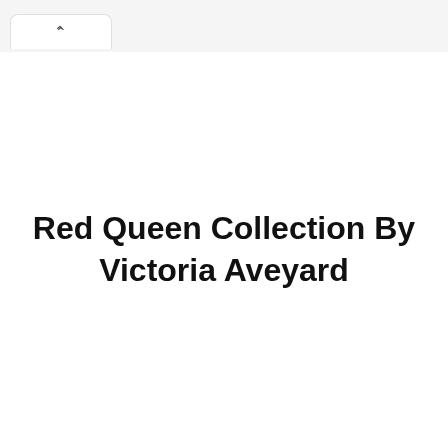^
Red Queen Collection By Victoria Aveyard